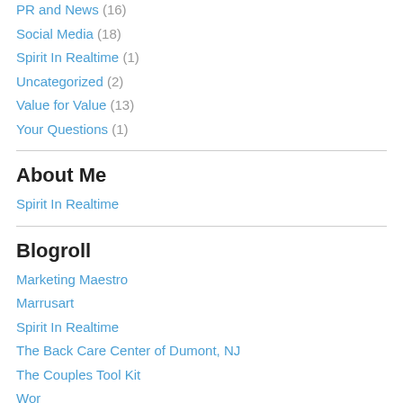PR and News (16)
Social Media (18)
Spirit In Realtime (1)
Uncategorized (2)
Value for Value (13)
Your Questions (1)
About Me
Spirit In Realtime
Blogroll
Marketing Maestro
Marrusart
Spirit In Realtime
The Back Care Center of Dumont, NJ
The Couples Tool Kit
WordPress…